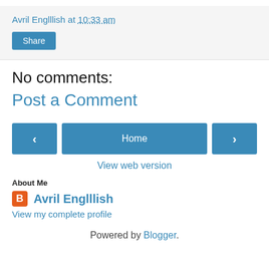Avril Englllish at 10:33 am
Share
No comments:
Post a Comment
‹ Home ›
View web version
About Me
Avril Englllish
View my complete profile
Powered by Blogger.